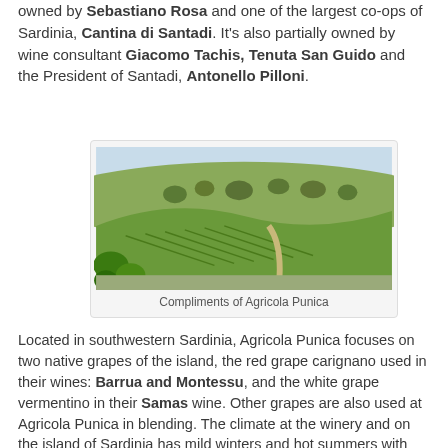owned by Sebastiano Rosa and one of the largest co-ops of Sardinia, Cantina di Santadi. It's also partially owned by wine consultant Giacomo Tachis, Tenuta San Guido and the President of Santadi, Antonello Pilloni.
[Figure (photo): Vineyard landscape in southwestern Sardinia with rows of vines on rolling hills and olive trees in the background under a clear sky.]
Compliments of Agricola Punica
Located in southwestern Sardinia, Agricola Punica focuses on two native grapes of the island, the red grape carignano used in their wines: Barrua and Montessu, and the white grape vermentino in their Samas wine. Other grapes are also used at Agricola Punica in blending. The climate at the winery and on the island of Sardinia has mild winters and hot summers with the hot winds of Africa, known as the scirocco winds, blowing in off the sea.
[Figure (photo): Close-up of wine barrels at Agricola Punica winery.]